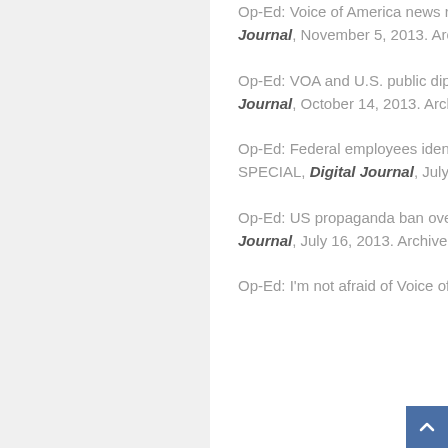Op-Ed: Voice of America news report sides with Putin against Greenpeace, Digital Journal, November 5, 2013. Archive.
Op-Ed: VOA and U.S. public diplomacy failed on Obama-Malala meeting, Digital Journal, October 14, 2013. Archive.
Op-Ed: Federal employees identify U.S. stations for government-paid news SPECIAL, Digital Journal, July 27, 2013. Archive.
Op-Ed: US propaganda ban overturned with help of government propaganda, Digital Journal, July 16, 2013. Archive.
Op-Ed: I'm not afraid of Voice of